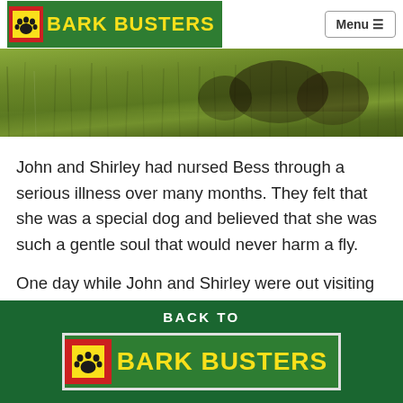BARK BUSTERS | Menu
[Figure (photo): Outdoor photo of dogs in tall green grass, partially obscured, natural setting]
John and Shirley had nursed Bess through a serious illness over many months. They felt that she was a special dog and believed that she was such a gentle soul that would never harm a fly.
One day while John and Shirley were out visiting a friend who worked at a rescue shelter, they spotted
BACK TO BARK BUSTERS